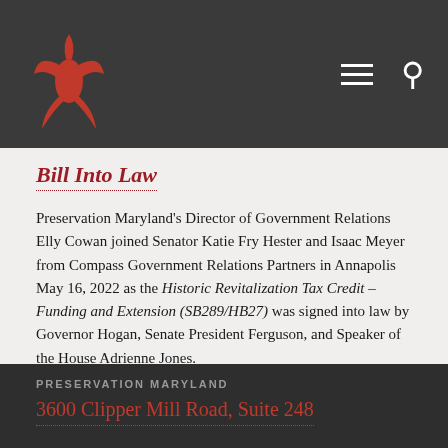Preservation Maryland — navigation header with logo, hamburger menu, and search icon
Bill Into Law
Preservation Maryland's Director of Government Relations Elly Cowan joined Senator Katie Fry Hester and Isaac Meyer from Compass Government Relations Partners in Annapolis May 16, 2022 as the Historic Revitalization Tax Credit – Funding and Extension (SB289/HB27) was signed into law by Governor Hogan, Senate President Ferguson, and Speaker of the House Adrienne Jones.
PRESERVATION MARYLAND
3600 Clipper Mill Road, Suite 248